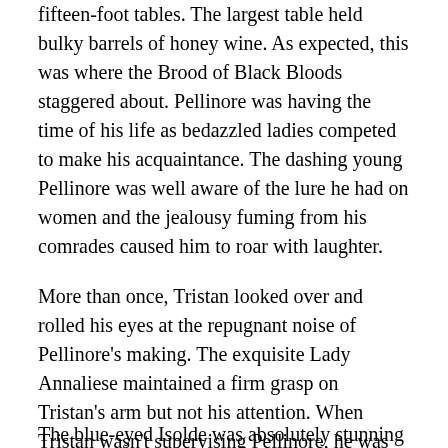fifteen-foot tables. The largest table held bulky barrels of honey wine. As expected, this was where the Brood of Black Bloods staggered about. Pellinore was having the time of his life as bedazzled ladies competed to make his acquaintance. The dashing young Pellinore was well aware of the lure he had on women and the jealousy fuming from his comrades caused him to roar with laughter.
More than once, Tristan looked over and rolled his eyes at the repugnant noise of Pellinore's making. The exquisite Lady Annaliese maintained a firm grasp on Tristan's arm but not his attention. When Tristan wasn't supervising Pellinore, he was monitoring the deviance of Princess Isolde.
The blue-eyed Isolde was absolutely stunning in her sleek